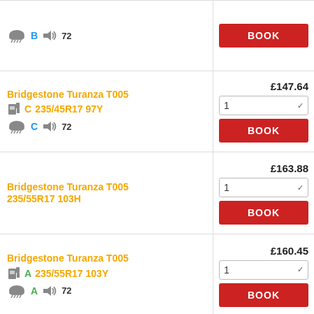B 72 (partial row top)
BOOK
£147.64
Bridgestone Turanza T005 235/45R17 97Y
C C 72
1
BOOK
£163.88
Bridgestone Turanza T005 235/55R17 103H
1
BOOK
£160.45
Bridgestone Turanza T005 235/55R17 103Y
A A 72
1
BOOK